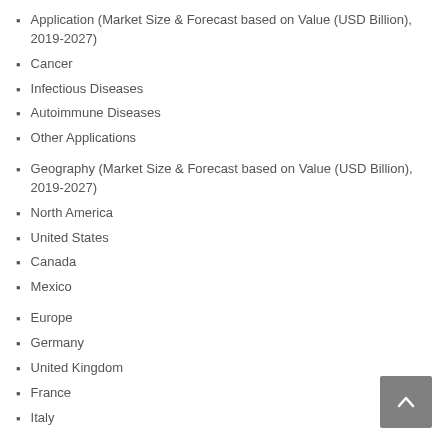Application (Market Size & Forecast based on Value (USD Billion), 2019-2027)
Cancer
Infectious Diseases
Autoimmune Diseases
Other Applications
Geography (Market Size & Forecast based on Value (USD Billion), 2019-2027)
North America
United States
Canada
Mexico
Europe
Germany
United Kingdom
France
Italy